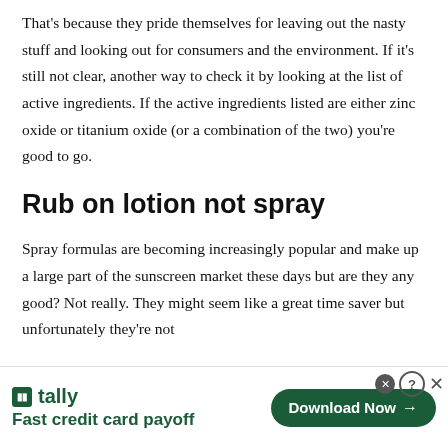That's because they pride themselves for leaving out the nasty stuff and looking out for consumers and the environment. If it's still not clear, another way to check it by looking at the list of active ingredients. If the active ingredients listed are either zinc oxide or titanium oxide (or a combination of the two) you're good to go.
Rub on lotion not spray
Spray formulas are becoming increasingly popular and make up a large part of the sunscreen market these days but are they any good? Not really. They might seem like a great time saver but unfortunately they're not
[Figure (other): Advertisement banner for Tally app: logo with green square icon, 'tally' name, tagline 'Fast credit card payoff', and a green 'Download Now' button with arrow. Close/help icons in top right.]